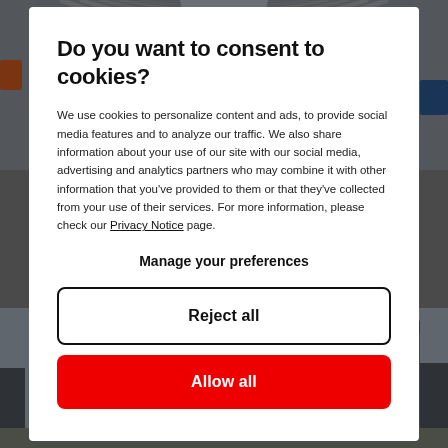[Figure (photo): Interior photo of a truck/trailer showing metal arched framework and grey tarpaulin sides, viewed from inside looking toward the rear, with overcast sky visible.]
Do you want to consent to cookies?
We use cookies to personalize content and ads, to provide social media features and to analyze our traffic. We also share information about your use of our site with our social media, advertising and analytics partners who may combine it with other information that you've provided to them or that they've collected from your use of their services. For more information, please check our Privacy Notice page.
Manage your preferences
Reject all
Allow all
[Figure (photo): Exterior photo of a grey shipping container or vehicle body on a lot, with other structures and greenery visible in the background under a partly cloudy sky.]